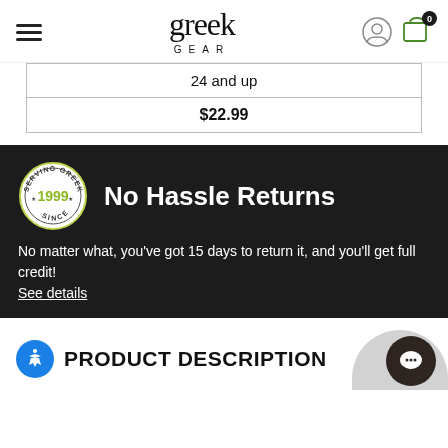greek GEAR
| 24 and up |
| $22.99 |
[Figure (logo): Circular badge with text 'SERVING GREEKS SINCE 1999' and year 1999 in green]
No Hassle Returns
No matter what, you've got 15 days to return it, and you'll get full credit! See details
PRODUCT DESCRIPTION